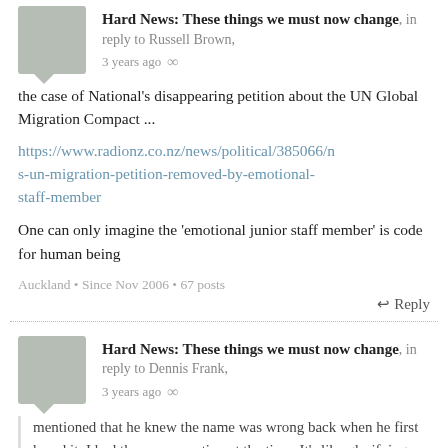Hard News: These things we must now change, in reply to Russell Brown,
3 years ago ∞
the case of National's disappearing petition about the UN Global Migration Compact ...
https://www.radionz.co.nz/news/political/385066/ns-un-migration-petition-removed-by-emotional-staff-member
One can only imagine the 'emotional junior staff member' is code for human being
Auckland • Since Nov 2006 • 67 posts
↩ Reply
Hard News: These things we must now change, in reply to Dennis Frank,
3 years ago ∞
mentioned that he knew the name was wrong back when he first heard it. I had the same reaction at the time. It's like glorifying war...